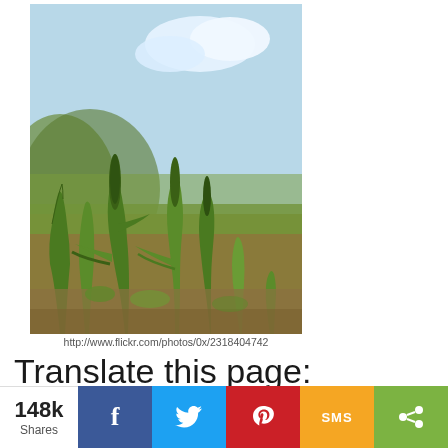[Figure (photo): Close-up photo of green grass/plant spikes (possibly plantain or similar plant) growing in a field with a blue sky background]
http://www.flickr.com/photos/0x/2318404742
Translate this page:
Select Language (dropdown)
148k Shares — Facebook, Twitter, Pinterest, SMS, Share buttons